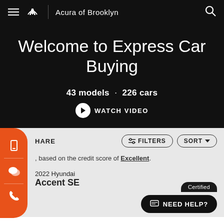Acura of Brooklyn
Welcome to Express Car Buying
43 models · 226 cars
WATCH VIDEO
HARE
FILTERS
SORT
based on the credit score of Excellent.
2022 Hyundai Accent SE
Certified
NEED HELP?